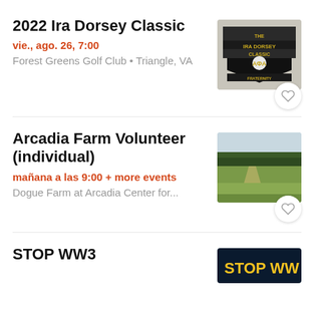2022 Ira Dorsey Classic
vie., ago. 26, 7:00
Forest Greens Golf Club • Triangle, VA
[Figure (photo): Golf tournament logo with shield, ΑΦΑ fraternity letters, and text 'The Ira Dorsey Classic Golf Tournament']
Arcadia Farm Volunteer (individual)
mañana a las 9:00 + more events
Dogue Farm at Arcadia Center for...
[Figure (photo): Aerial or wide view of a farm field with trees in background]
STOP WW3
[Figure (photo): Dark banner with yellow text reading STOP WW3]